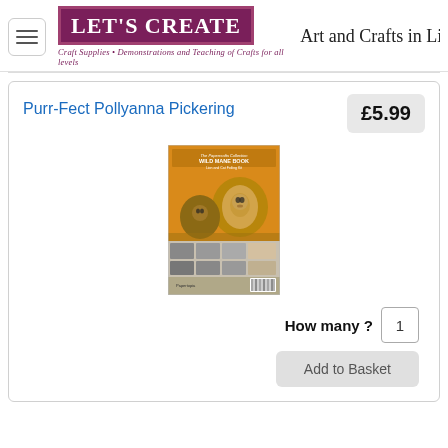[Figure (logo): Let's Create logo with purple/maroon background, white bold serif text. Tagline: Craft Supplies • Demonstrations and Teaching of Crafts for all levels. Site subtitle: Art and Crafts in Lin]
Purr-Fect Pollyanna Pickering
£5.99
[Figure (photo): Product packaging image showing lions on an orange/amber background, with a grid of small sample images at the bottom and a barcode.]
How many ? 1
Add to Basket